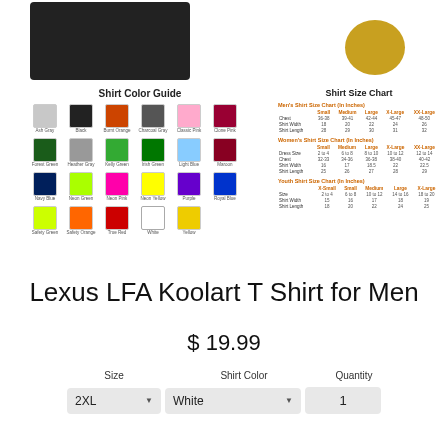[Figure (photo): Black t-shirt product image on left, round gold/yellow badge logo on right]
[Figure (infographic): Shirt Color Guide showing color swatches grid: Ash Gray, Black, Burnt Orange, Charcoal Gray, Classic Pink, Clone Pink, Forest Green, Heather Gray, Kelly Green, Irish Green, Light Blue, Maroon, Navy Blue, Neon Green, Neon Pink, Neon Yellow, Purple, Royal Blue, Safety Green, Safety Orange, True Red, White, Yellow]
| Men's Shirt Size Chart (In Inches) | Small | Medium | Large | X-Large | XX-Large |
| --- | --- | --- | --- | --- | --- |
| Chest | 36-38 | 39-41 | 42-44 | 45-47 | 48-50 |
| Shirt Width | 18 | 20 | 22 | 24 | 26 |
| Shirt Length | 28 | 29 | 30 | 31 | 32 |
| Women's Shirt Size Chart (In Inches) | Small | Medium | Large | X-Large | XX-Large |
| --- | --- | --- | --- | --- | --- |
| Dress Size | 2 to 4 | 6 to 8 | 8 to 10 | 10 to 12 | 12 to 14 |
| Chest | 32-33 | 34-36 | 36-38 | 38-40 | 40-42 |
| Shirt Width | 16 | 17 | 18.5 | 22 | 22.5 |
| Shirt Length | 25 | 26 | 27 | 28 | 29 |
| Youth Shirt Size Chart (In Inches) | X-Small | Small | Medium | Large | X-Large |
| --- | --- | --- | --- | --- | --- |
| Size | 2 to 4 | 6 to 8 | 10 to 12 | 14 to 16 | 18 to 20 |
| Shirt Width | 15 | 16 | 17 | 18 | 19 |
| Shirt Length | 18 | 20 | 22 | 24 | 25 |
Lexus LFA Koolart T Shirt for Men
$ 19.99
Size   Shirt Color   Quantity
2XL   White   1